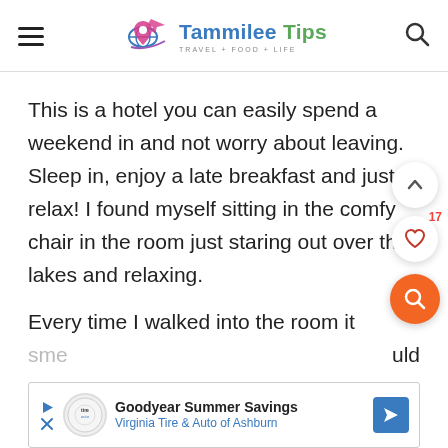Tammilee Tips TRAVEL+FOOD+LIFE
This is a hotel you can easily spend a weekend in and not worry about leaving. Sleep in, enjoy a late breakfast and just relax! I found myself sitting in the comfy chair in the room just staring out over the lakes and relaxing.
Every time I walked into the room it sme... uld
[Figure (screenshot): Goodyear Summer Savings - Virginia Tire & Auto of Ashburn advertisement banner]